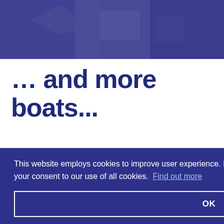[Figure (photo): Top banner photo showing people with boats/sailing gear, tinted with dark blue/navy overlay]
… and more boats...
[Figure (photo): Bottom right photo showing a boat in a storage facility with blue and white coloring]
This website employs cookies to improve user experience. If you continue on this website you will be providing your consent to our use of all cookies.  Find out more
OK